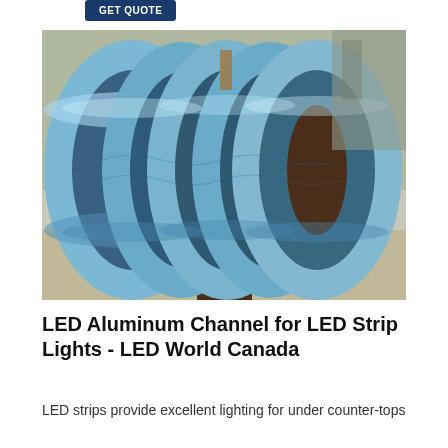[Figure (other): GET QUOTE button, dark navy blue background with white text]
[Figure (photo): Multiple rolls of shiny blue aluminum strip coiled on a spool, stored in an industrial setting]
LED Aluminum Channel for LED Strip Lights - LED World Canada
LED strips provide excellent lighting for under counter-tops